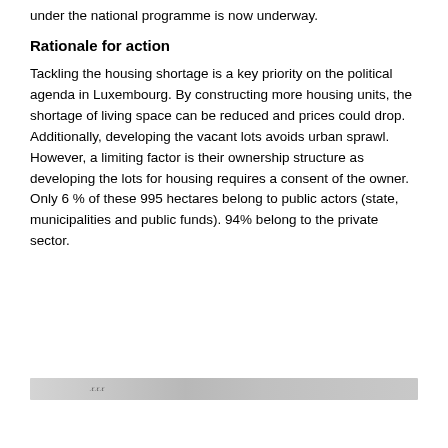under the national programme is now underway.
Rationale for action
Tackling the housing shortage is a key priority on the political agenda in Luxembourg. By constructing more housing units, the shortage of living space can be reduced and prices could drop. Additionally, developing the vacant lots avoids urban sprawl. However, a limiting factor is their ownership structure as developing the lots for housing requires a consent of the owner. Only 6 % of these 995 hectares belong to public actors (state, municipalities and public funds). 94% belong to the private sector.
[Figure (photo): A partial view of a bar or image strip at the bottom of the page, showing a lightly shaded gray bar with faint handwritten-style text.]